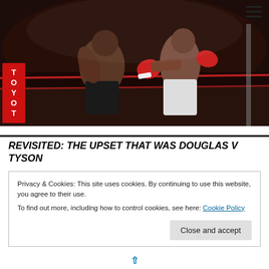[Figure (photo): Two boxers fighting in a boxing ring with a TOYOTA sponsor banner visible on the ropes. One boxer in dark shorts, the other in white shorts with red gloves.]
REVISITED: THE UPSET THAT WAS DOUGLAS V TYSON
Privacy & Cookies: This site uses cookies. By continuing to use this website, you agree to their use.
To find out more, including how to control cookies, see here: Cookie Policy
Close and accept